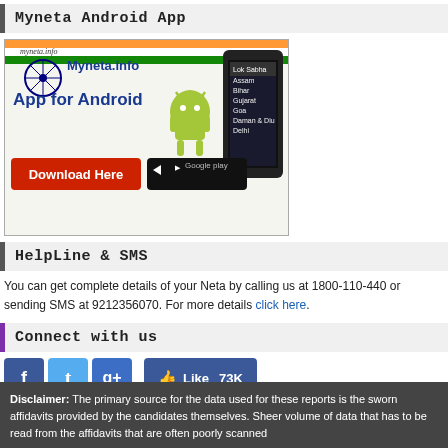Myneta Android App
[Figure (screenshot): Myneta.info App for Android promotional banner with Download Here button and Google Play badge, showing a tablet/phone with Lok Sabha, Assam, Bihar, Gujarat, Goa, Daman & Diu, Delhi listed]
HelpLine & SMS
You can get complete details of your Neta by calling us at 1800-110-440 or sending SMS at 9212356070. For more details click here.
Connect with us
[Figure (infographic): Social media icons: Facebook, Twitter, Google+, and a Like 73K Facebook button]
For news alert,enter your email id
email-id to subscribe [input] Join [button]
Disclaimer: The primary source for the data used for these reports is the sworn affidavits provided by the candidates themselves. Sheer volume of data that has to be read from the affidavits that are often poorly scanned